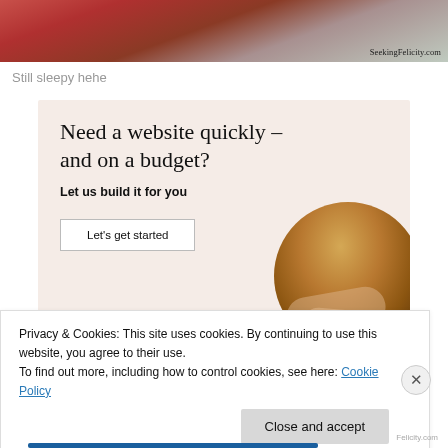[Figure (photo): Cropped photo of a person in red/pink floral dress near water, with watermark 'SeekingFelicity.com' in bottom right corner]
Still sleepy hehe
[Figure (infographic): Advertisement with beige/cream background. Headline: 'Need a website quickly – and on a budget?' Subhead: 'Let us build it for you'. Button: 'Let's get started'. Circle photo of hands working on a device.]
Privacy & Cookies: This site uses cookies. By continuing to use this website, you agree to their use.
To find out more, including how to control cookies, see here: Cookie Policy
Close and accept